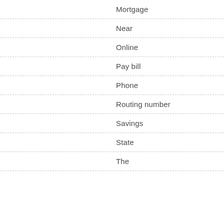Mortgage
Near
Online
Pay bill
Phone
Routing number
Savings
State
The